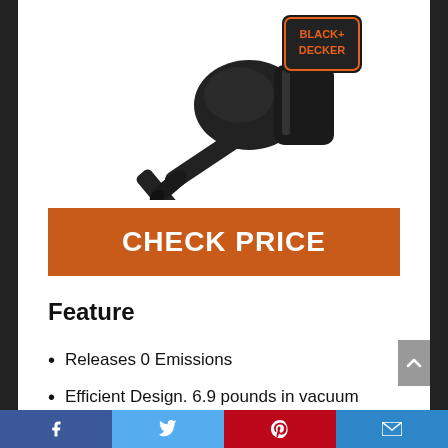[Figure (photo): Black+Decker leaf blower/vacuum product photo on white background, with orange and black branding logo visible in upper right]
CHECK PRICE
Feature
Releases 0 Emissions
Efficient Design. 6.9 pounds in vacuum mode.
Facebook | Twitter | Pinterest | Email